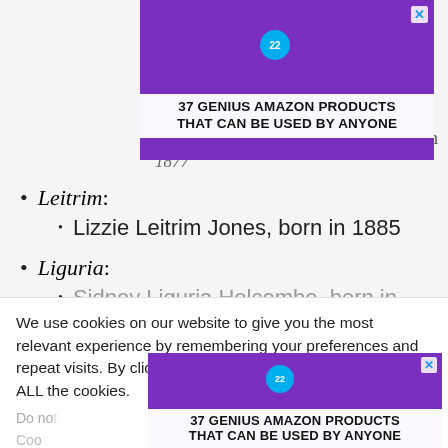[Figure (photo): Advertisement banner showing purple headphones with text '37 GENIUS AMAZON PRODUCTS THAT CAN BE USED BY ANYONE' and a '22' branded circle logo, with a close X button]
in
1877
Leitrim:
Lizzie Leitrim Jones, born in 1885
Liguria:
Sidney Liguria Holcombe, born in 1882
We use cookies on our website to give you the most relevant experience by remembering your preferences and repeat visits. By clicking “Accept”, you consent to the use of ALL the cookies.
Do not
Coo
[Figure (photo): Second advertisement banner showing purple headphones with text '37 GENIUS AMAZON PRODUCTS THAT CAN BE USED BY ANYONE' and a '22' branded circle logo, with a close X button]